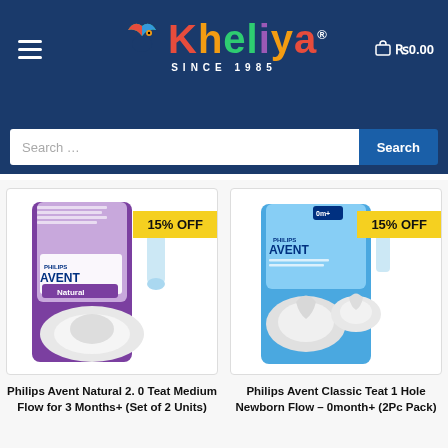Kheliya Since 1985
Search …
[Figure (photo): Philips Avent Natural 2.0 teat medium flow product packaging with 15% OFF badge]
[Figure (photo): Philips Avent Classic Teat 1 Hole Newborn Flow product packaging with 15% OFF badge]
Philips Avent Natural 2. 0 Teat Medium Flow for 3 Months+ (Set of 2 Units)
Philips Avent Classic Teat 1 Hole Newborn Flow – 0month+ (2Pc Pack)